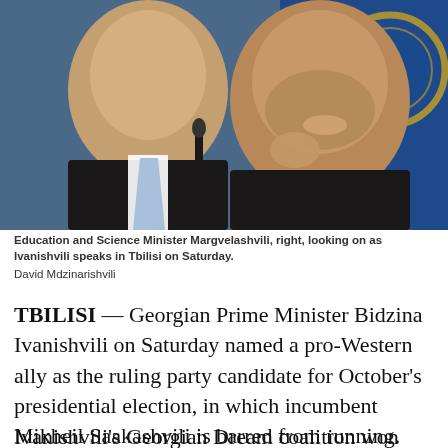[Figure (photo): Two men photographed closely together. On the left, a man in a dark suit with a light blue tie. On the right, a man with gray stubble smiling, hand raised near chin. Blue background with partial circular emblem visible on the right.]
Education and Science Minister Margvelashvili, right, looking on as Ivanishvili speaks in Tbilisi on Saturday.
David Mdzinarishvili
TBILISI — Georgian Prime Minister Bidzina Ivanishvili on Saturday named a pro-Western ally as the ruling party candidate for October's presidential election, in which incumbent Mikheil Saakashvili is barred from running.
Ivanishvili's Georgian Dream coalition won control